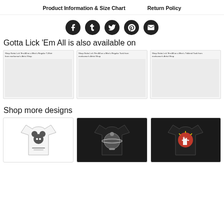Product Information & Size Chart    Return Policy
[Figure (infographic): Row of 5 social media icon buttons (Facebook, Tumblr, Twitter, Pinterest, Email) as dark circular icons]
Gotta Lick 'Em All is also available on
[Figure (infographic): Three product preview cards showing 'Shop Gotta Lick Em All on a Men's Regular T-Shirt from morkamari's Artist Shop', 'Shop Gotta Lick Em All on a Men's Regular Tank from morkamari's Artist Shop', 'Shop Gotta Lick Em All on a Men's Triblend Tank from morkamari's Artist Shop']
Shop more designs
[Figure (infographic): Three t-shirt design thumbnail cards: white t-shirt with Mickey Mouse mugshot graphic, black t-shirt with circular space/planet graphic, black t-shirt with rock hand sign graphic]